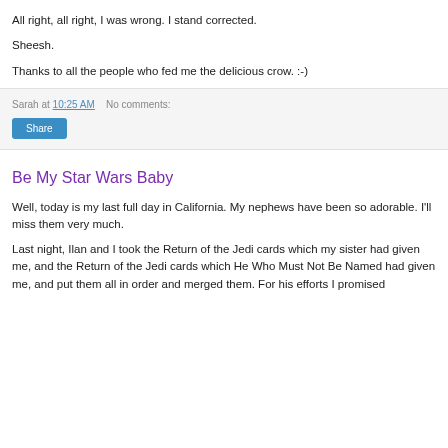All right, all right, I was wrong. I stand corrected.
Sheesh.
Thanks to all the people who fed me the delicious crow. :-)
Sarah at 10:25 AM    No comments:
Share
Be My Star Wars Baby
Well, today is my last full day in California. My nephews have been so adorable. I'll miss them very much.
Last night, Ilan and I took the Return of the Jedi cards which my sister had given me, and the Return of the Jedi cards which He Who Must Not Be Named had given me, and put them all in order and merged them. For his efforts I promised to give all my doubled cards to nephew, to start...